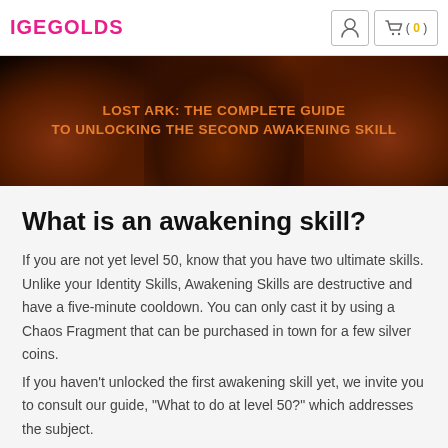IGEGOLDS
[Figure (illustration): Banner image with dark fantasy artwork background and orange text reading: LOST ARK: THE COMPLETE GUIDE TO UNLOCKING THE SECOND AWAKENING SKILL]
What is an awakening skill?
If you are not yet level 50, know that you have two ultimate skills. Unlike your Identity Skills, Awakening Skills are destructive and have a five-minute cooldown. You can only cast it by using a Chaos Fragment that can be purchased in town for a few silver coins.
If you haven't unlocked the first awakening skill yet, we invite you to consult our guide, "What to do at level 50?" which addresses the subject.